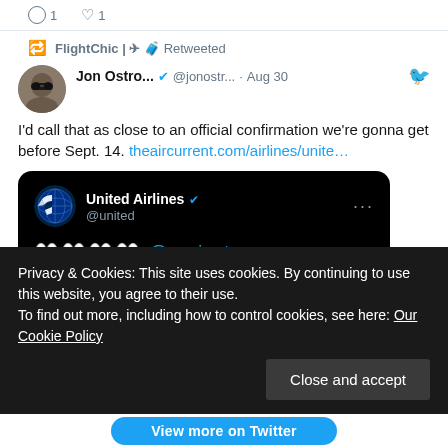1  ♡ 1
FlightChic | ✈ 🧳 Retweeted
[Figure (screenshot): Tweet by Jon Ostro... @jonostr... · Aug 30. Text: I'd call that as close to an official confirmation we're gonna get before Sept. 14. theaircurrent.com/airlines/unite... with embedded United Airlines @united tweet showing 👀👀👀👀@emirates, 6:48 AM · 8/30/22 · Twitter for iPhone]
Privacy & Cookies: This site uses cookies. By continuing to use this website, you agree to their use.
To find out more, including how to control cookies, see here: Our Cookie Policy
Close and accept
View more on Twitter